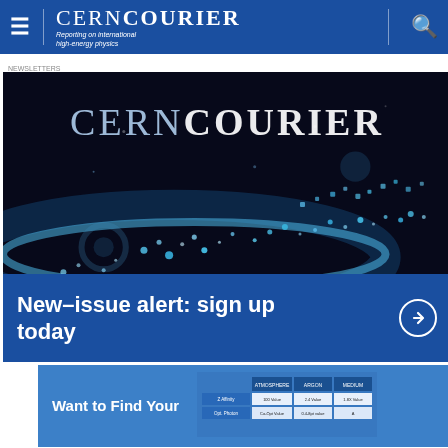CERN COURIER | Reporting on international high-energy physics
[Figure (screenshot): CERN Courier magazine cover hero image showing the CERNCOURIER logo over a dark background with glowing blue particle/wave visualization, with 'New-issue alert: sign up today' text overlay on a blue bar at the bottom]
[Figure (screenshot): Partial advertisement banner showing 'Want to Find Your' text in white on blue background with a table graphic on the right side]